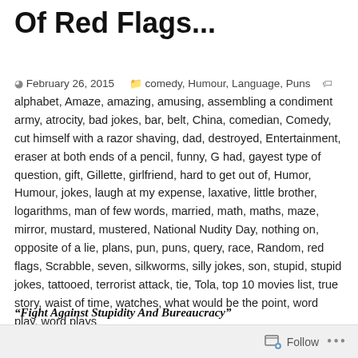Of Red Flags...
February 26, 2015   comedy, Humour, Language, Puns   alphabet, Amaze, amazing, amusing, assembling a condiment army, atrocity, bad jokes, bar, belt, China, comedian, Comedy, cut himself with a razor shaving, dad, destroyed, Entertainment, eraser at both ends of a pencil, funny, G had, gayest type of question, gift, Gillette, girlfriend, hard to get out of, Humor, Humour, jokes, laugh at my expense, laxative, little brother, logarithms, man of few words, married, math, maths, maze, mirror, mustard, mustered, National Nudity Day, nothing on, opposite of a lie, plans, pun, puns, query, race, Random, red flags, Scrabble, seven, silkworms, silly jokes, son, stupid, stupid jokes, tattooed, terrorist attack, tie, Tola, top 10 movies list, true story, waist of time, watches, what would be the point, word play, word plays
“Fight Against Stupidity And Bureaucracy”
Follow